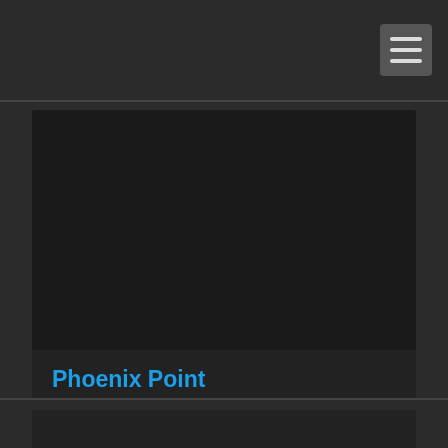Navigation bar with hamburger menu
[Figure (screenshot): Dark image area - thumbnail for Phoenix Point podcast episode]
Phoenix Point
November 15th, 2021 | Season 2 | 44 mins 32 secs
games, larsen, martin, marty, maybe more, michael, mike, netflix, phoenix, point, review, two nerds